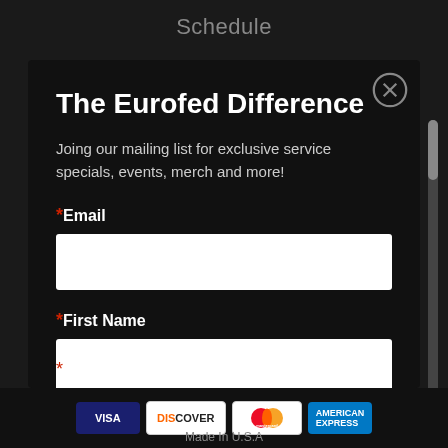Schedule
The Eurofed Difference
Joing our mailing list for exclusive service specials, events, merch and more!
*Email
*First Name
Made In U.S.A